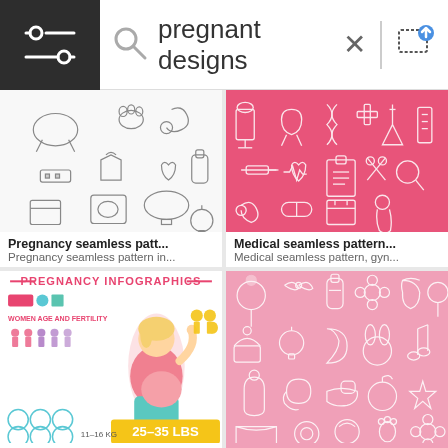[Figure (screenshot): Search bar UI with hamburger menu on dark background, search icon, text 'pregnant designs', X close button, divider, and upload image icon]
[Figure (illustration): Pregnancy seamless pattern with hand-drawn doodle style pregnancy and baby icons on white background]
Pregnancy seamless patt...
Pregnancy seamless pattern in...
[Figure (illustration): Medical seamless pattern on pink background with gynecology and medical icons in white outline style]
Medical seamless pattern...
Medical seamless pattern, gyn...
[Figure (infographic): Pregnancy infographics showing women age and fertility, pregnant woman illustration, pregnancy stages silhouettes, dietary recommendations including 25-35 LBS and 11-16 KG]
[Figure (illustration): Pink seamless pattern with white outline baby and maternity icons including rattles, baby bottles, bows, flowers, bibs, and cupcakes]